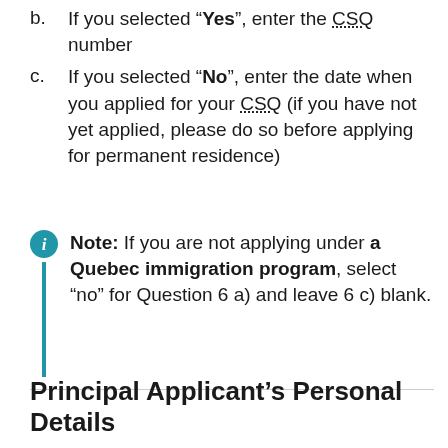b. If you selected “Yes”, enter the CSQ number
c. If you selected “No”, enter the date when you applied for your CSQ (if you have not yet applied, please do so before applying for permanent residence)
Note: If you are not applying under a Quebec immigration program, select “no” for Question 6 a) and leave 6 c) blank.
Principal Applicant’s Personal Details